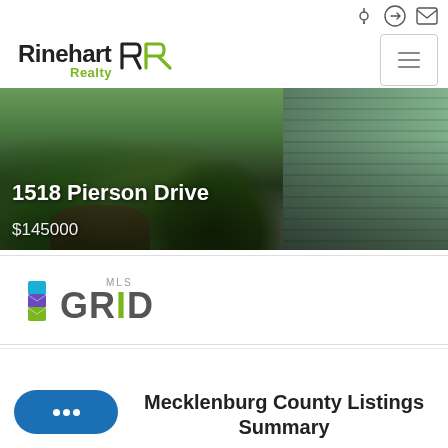Rinehart Realty — navigation header with logo and menu
[Figure (photo): Exterior photo of 1518 Pierson Drive, showing a green wooden house siding with overgrown vegetation in the foreground. Text overlay shows the address and price.]
1518 Pierson Drive
$145000
[Figure (logo): MLS GRID logo with stacked colorful diamond/square icon and stylized GRID text]
Mecklenburg County Listings Summary